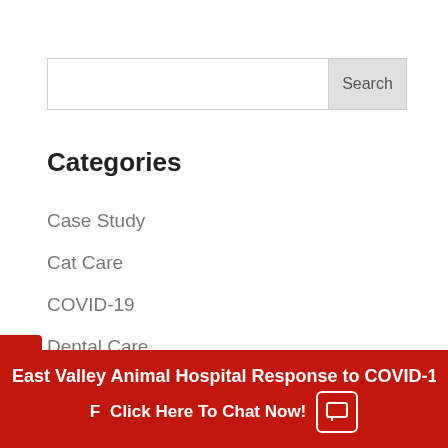Search
Categories
Case Study
Cat Care
COVID-19
Dental Care
Diet
Disease in Dogs
East Valley Animal Hospital Response to COVID-19 - Click Here To Chat Now!